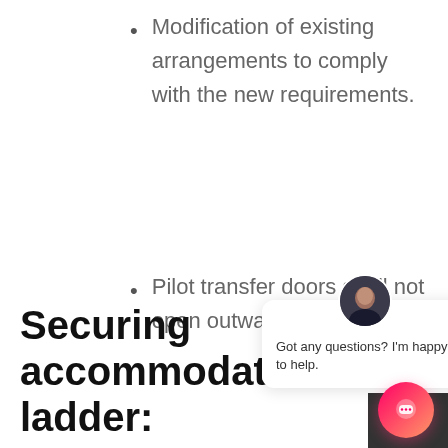Modification of existing arrangements to comply with the new requirements.
Pilot transfer doors shall not open outwards.
Securing accommodation ladder: